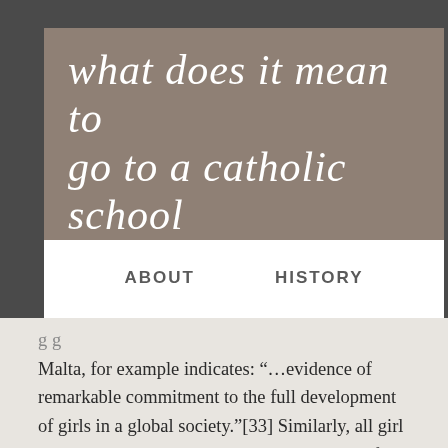what does it mean to go to a catholic school
ABOUT
HISTORY
CONTACT PAGE
Malta, for example indicates: “…evidence of remarkable commitment to the full development of girls in a global society.”[33] Similarly, all girl schools in Japan have also contributed powerfully to the “personal and